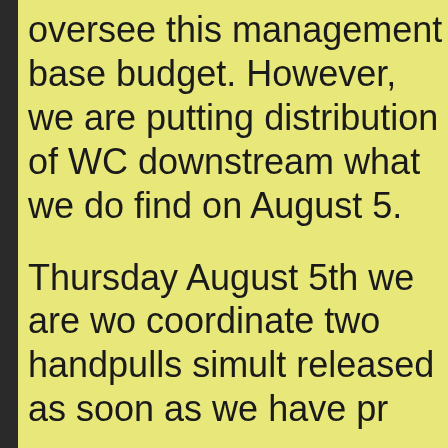oversee this management base budget. However, we are putting distribution of WC downstream what we do find on August 5.
Thursday August 5th we are wo coordinate two handpulls simult released as soon as we have pr
Guffin Bay and Guffin Creek (av access) Oswegatchie River betw Launch and out to Eel Weir Sta approval)